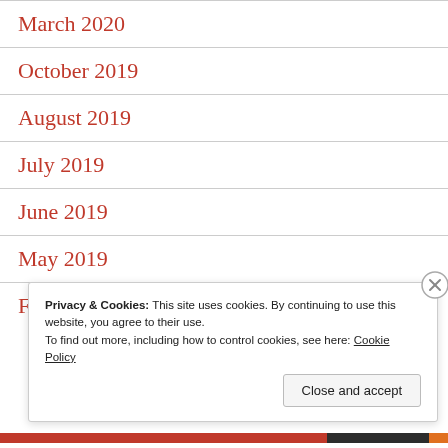March 2020
October 2019
August 2019
July 2019
June 2019
May 2019
February 2019
Privacy & Cookies: This site uses cookies. By continuing to use this website, you agree to their use.
To find out more, including how to control cookies, see here: Cookie Policy
Close and accept